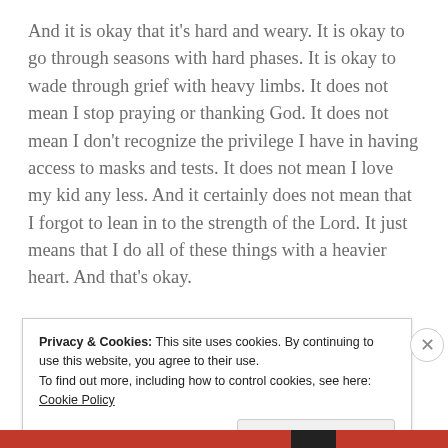And it is okay that it's hard and weary. It is okay to go through seasons with hard phases. It is okay to wade through grief with heavy limbs. It does not mean I stop praying or thanking God. It does not mean I don't recognize the privilege I have in having access to masks and tests. It does not mean I love my kid any less. And it certainly does not mean that I forgot to lean in to the strength of the Lord. It just means that I do all of these things with a heavier heart. And that's okay.
Privacy & Cookies: This site uses cookies. By continuing to use this website, you agree to their use.
To find out more, including how to control cookies, see here: Cookie Policy
Close and accept